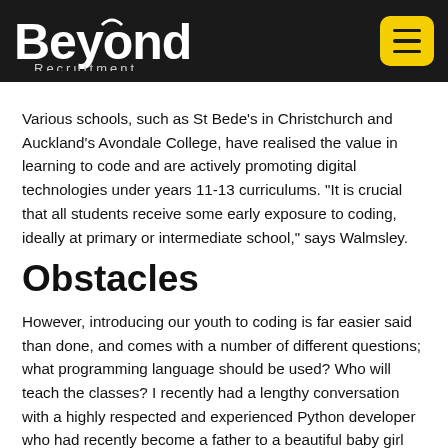Beyond Recruitment
Various schools, such as St Bede's in Christchurch and Auckland's Avondale College, have realised the value in learning to code and are actively promoting digital technologies under years 11-13 curriculums. "It is crucial that all students receive some early exposure to coding, ideally at primary or intermediate school," says Walmsley.
Obstacles
However, introducing our youth to coding is far easier said than done, and comes with a number of different questions; what programming language should be used? Who will teach the classes? I recently had a lengthy conversation with a highly respected and experienced Python developer who had recently become a father to a beautiful baby girl and I put the